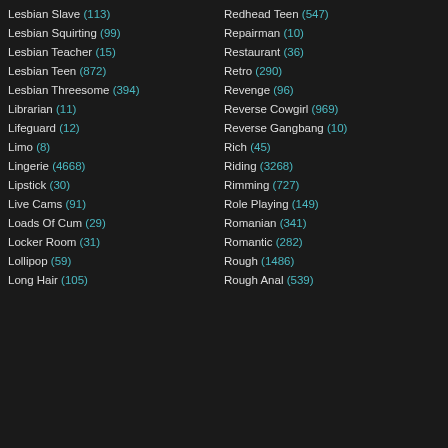Lesbian Slave (113)
Lesbian Squirting (99)
Lesbian Teacher (15)
Lesbian Teen (872)
Lesbian Threesome (394)
Librarian (11)
Lifeguard (12)
Limo (8)
Lingerie (4668)
Lipstick (30)
Live Cams (91)
Loads Of Cum (29)
Locker Room (31)
Lollipop (59)
Long Hair (105)
Redhead Teen (547)
Repairman (10)
Restaurant (36)
Retro (290)
Revenge (96)
Reverse Cowgirl (969)
Reverse Gangbang (10)
Rich (45)
Riding (3268)
Rimming (727)
Role Playing (149)
Romanian (341)
Romantic (282)
Rough (1486)
Rough Anal (539)